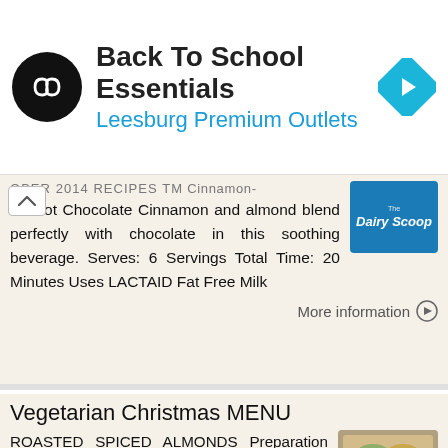[Figure (infographic): Ad banner: Back To School Essentials, Leesburg Premium Outlets, with circular logo and blue diamond navigation icon]
OBER 2014 RECIPES TM Cinnamon-nd Hot Chocolate Cinnamon and almond blend perfectly with chocolate in this soothing beverage. Serves: 6 Servings Total Time: 20 Minutes Uses LACTAID Fat Free Milk
More information →
Vegetarian Christmas MENU
ROASTED SPICED ALMONDS Preparation time: 5 minutes Roasting time: 5 minutes Makes 3 cups (750 ml) 2 tbsp (30 ml) liquid honey 2 tbsp (30 ml) vegetable oil 2 tbsp (30 ml) granulated sugar tsp (5 ml) each
More information →